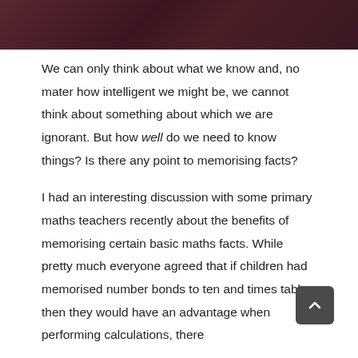We can only think about what we know and, no mater how intelligent we might be, we cannot think about something about which we are ignorant. But how well do we need to know things? Is there any point to memorising facts?
I had an interesting discussion with some primary maths teachers recently about the benefits of memorising certain basic maths facts. While pretty much everyone agreed that if children had memorised number bonds to ten and times tables then they would have an advantage when performing calculations, there